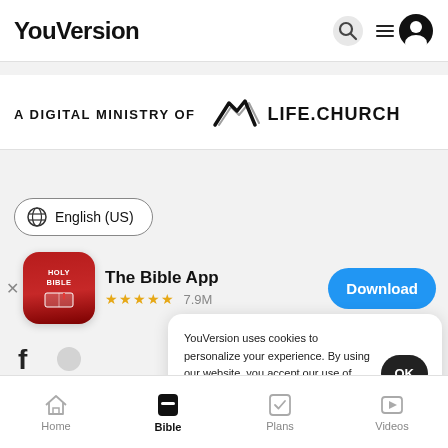YouVersion
[Figure (logo): YouVersion logo text in bold black, with search icon and hamburger+profile icon on the right]
A DIGITAL MINISTRY OF LIFE.CHURCH
[Figure (logo): Life.Church logo with stylized slash mark and LIFE.CHURCH text]
English (US)
The Bible App ★★★★★ 7.9M
[Figure (screenshot): The Bible App icon - red rounded square with HOLY BIBLE text and book graphic]
Download
YouVersion uses cookies to personalize your experience. By using our website, you accept our use of cookies as described in our Privacy Policy.
OK
Home | Bible | Plans | Videos